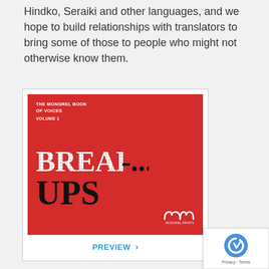Hindko, Seraiki and other languages, and we hope to build relationships with translators to bring some of those to people who might not otherwise know them.
[Figure (photo): Book cover of 'The Mongrel Book of Voices Volume 1: Break-Ups' on a red background. The cover shows the title 'BREAK-UPS' in large bold serif font with white dotted letters for 'BREAK' and black solid letters for 'UPS' and dashes. Publisher logo at bottom right.]
PREVIEW ›